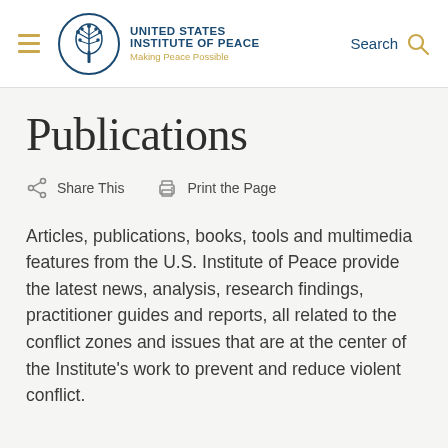United States Institute of Peace — Making Peace Possible
Publications
Share This   Print the Page
Articles, publications, books, tools and multimedia features from the U.S. Institute of Peace provide the latest news, analysis, research findings, practitioner guides and reports, all related to the conflict zones and issues that are at the center of the Institute's work to prevent and reduce violent conflict.